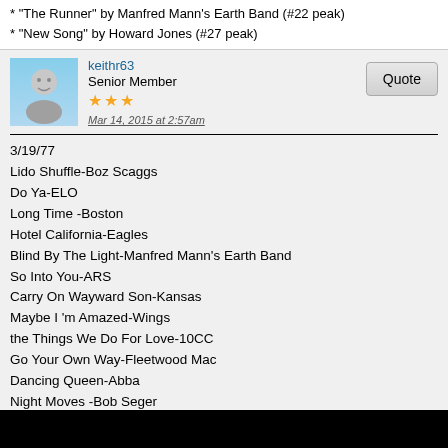* "The Runner" by Manfred Mann's Earth Band (#22 peak)
* "New Song" by Howard Jones (#27 peak)
keithr63
Senior Member
★★★
Mar 14, 2015 at 2:57am
3/19/77
Lido Shuffle-Boz Scaggs
Do Ya-ELO
Long Time -Boston
Hotel California-Eagles
Blind By The Light-Manfred Mann's Earth Band
So Into You-ARS
Carry On Wayward Son-Kansas
Maybe I 'm Amazed-Wings
the Things We Do For Love-10CC
Go Your Own Way-Fleetwood Mac
Dancing Queen-Abba
Night Moves -Bob Seger
Rich Girl-Hall and Oates
Fly Like An Eagle-Steve Miller